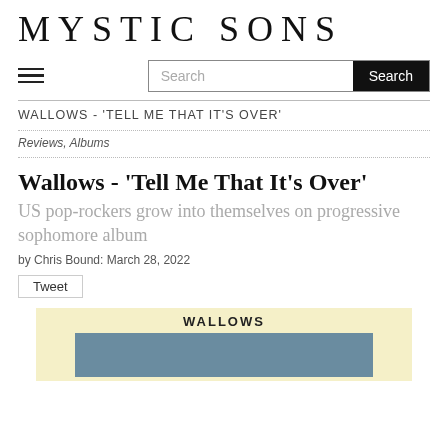MYSTIC SONS
Wallows - 'Tell Me That It's Over'
US pop-rockers grow into themselves on progressive sophomore album
by Chris Bound: March 28, 2022
Tweet
WALLOWS - 'TELL ME THAT IT'S OVER'
Reviews, Albums
[Figure (photo): Album cover for Wallows - Tell Me That It's Over, showing trees against sky on a yellow/cream background with WALLOWS text]